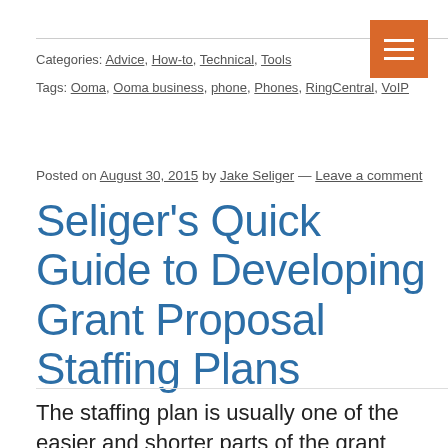Categories: Advice, How-to, Technical, Tools
Tags: Ooma, Ooma business, phone, Phones, RingCentral, VoIP
Posted on August 30, 2015 by Jake Seliger — Leave a comment
Seliger's Quick Guide to Developing Grant Proposal Staffing Plans
The staffing plan is usually one of the easier and shorter parts of the grant proposals. The